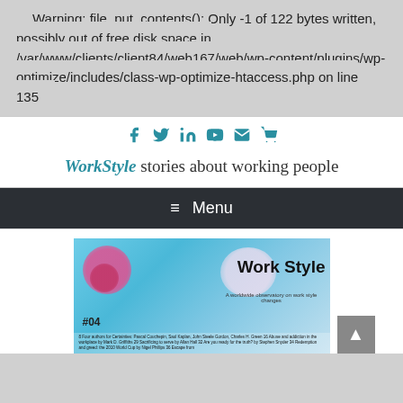Warning: file_put_contents(): Only -1 of 122 bytes written, possibly out of free disk space in /var/www/clients/client84/web167/web/wp-content/plugins/wp-optimize/includes/class-wp-optimize-htaccess.php on line 135
[Figure (screenshot): Social media icons row: Facebook, Twitter, LinkedIn, YouTube, Email, Cart — all in teal color]
WorkStyle stories about working people
☰  Menu
[Figure (photo): WorkStyle magazine cover #04 with colorful blobs on blue background, title 'Work Style', subtitle 'A worldwide observatory on work style changes', issue text listing authors including Pascal Couchepin, Saul Kaplan, John Steele Gordon, Charles H. Green, and more]